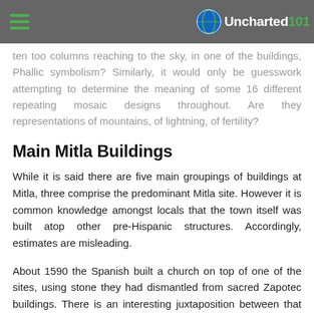Uncharted101
ten too columns reaching to the sky, in one of the buildings, Phallic symbolism? Similarly, it would only be guesswork attempting to determine the meaning of some 16 different repeating mosaic designs throughout. Are they representations of mountains, of lightning, of fertility?
Main Mitla Buildings
While it is said there are five main groupings of buildings at Mitla, three comprise the predominant Mitla site. However it is common knowledge amongst locals that the town itself was built atop other pre-Hispanic structures. Accordingly, estimates are misleading.
About 1590 the Spanish built a church on top of one of the sites, using stone they had dismantled from sacred Zapotec buildings. There is an interesting juxtaposition between that site, behind the church, with its ancient carved walls and